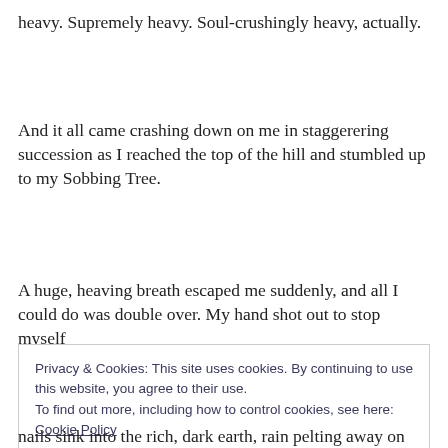heavy. Supremely heavy. Soul-crushingly heavy, actually.
And it all came crashing down on me in staggering succession as I reached the top of the hill and stumbled up to my Sobbing Tree.
A huge, heaving breath escaped me suddenly, and all I could do was double over. My hand shot out to stop myself
Privacy & Cookies: This site uses cookies. By continuing to use this website, you agree to their use.
To find out more, including how to control cookies, see here: Cookie Policy
nails sink into the rich, dark earth, rain pelting away on my